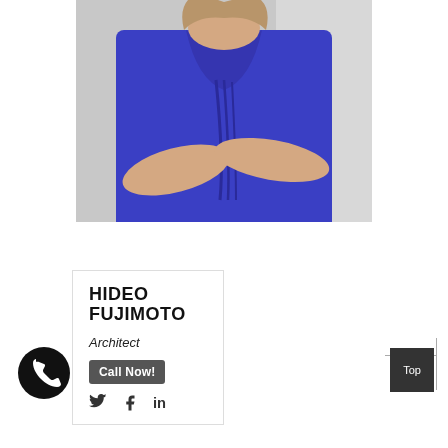[Figure (photo): Woman in a blue ruffled sleeveless dress with arms crossed, photographed against a light grey background. Only the torso and lower face/hair are visible.]
HIDEO FUJIMOTO
Architect
Call Now!
[Figure (infographic): Social media icons: Twitter bird, Facebook f, LinkedIn in]